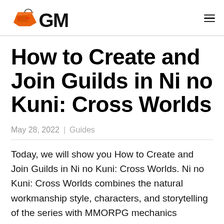GM (gaming logo)
How to Create and Join Guilds in Ni no Kuni: Cross Worlds
May 28, 2022 | Guides
Today, we will show you How to Create and Join Guilds in Ni no Kuni: Cross Worlds. Ni no Kuni: Cross Worlds combines the natural workmanship style, characters, and storytelling of the series with MMORPG mechanics